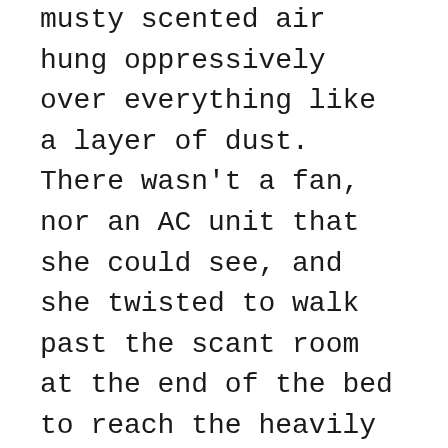musty scented air hung oppressively over everything like a layer of dust. There wasn't a fan, nor an AC unit that she could see, and she twisted to walk past the scant room at the end of the bed to reach the heavily curtained window, tugging the brocade to one side to reveal dirty panes that looked back into an overgrown courtyard. The moonlight just barely filtered down between the tall walls of the hotel, and the dim light cast the tangle of vines and shrubs into shadows that seemed to twist as Sam watched.
She shuddered and slung the curtain shut again, deciding it was better to sleep in a stuffy room than beside a window anyone in the courtyard might be able to look into. She looked back at the room